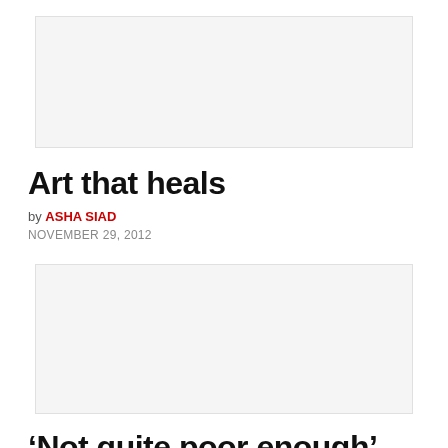[Figure (photo): Image placeholder for article 'Art that heals']
Art that heals
by ASHA SIAD
NOVEMBER 29, 2012
[Figure (photo): Image placeholder for article 'Not quite poor enough']
‘Not quite poor enough’